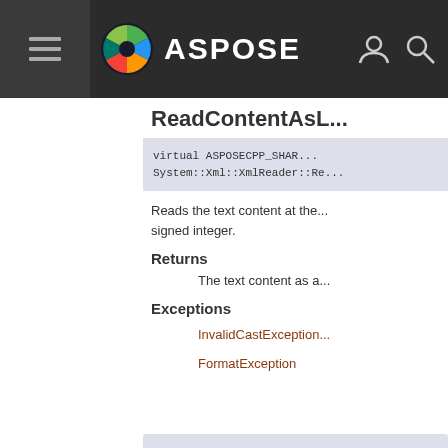ASPOSE navigation bar with hamburger menu, logo, user icon, and search icon
ReadContentAsL...
virtual ASPOSECPP_SHAR... System::Xml::XmlReader::Re...
Reads the text content at the... signed integer.
Returns
The text content as a...
Exceptions
InvalidCastException
FormatException